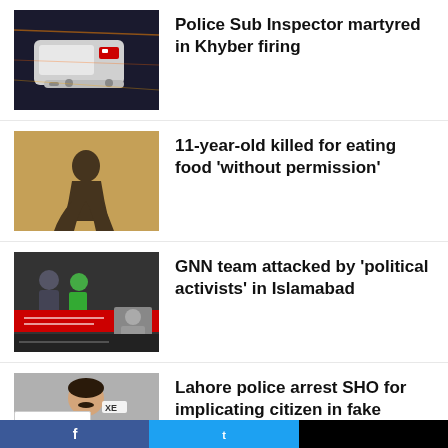[Figure (photo): Blurred ambulance/emergency vehicle at night]
Police Sub Inspector martyred in Khyber firing
[Figure (photo): Dark silhouette of a person crouching against a wall]
11-year-old killed for eating food 'without permission'
[Figure (photo): GNN news channel TV screenshot with Urdu text and red banner]
GNN team attacked by 'political activists' in Islamabad
[Figure (photo): Man in grey shirt, with small browser icon overlay at bottom left]
Lahore police arrest SHO for implicating citizen in fake narcotics case